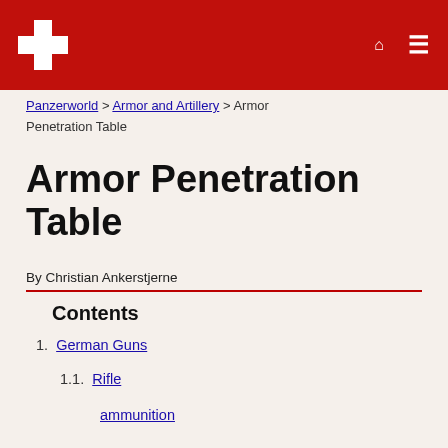Panzerworld site header with logo and navigation
Panzerworld > Armor and Artillery > Armor Penetration Table
Armor Penetration Table
By Christian Ankerstjerne
Contents
1. German Guns
1.1. Rifle
ammunition